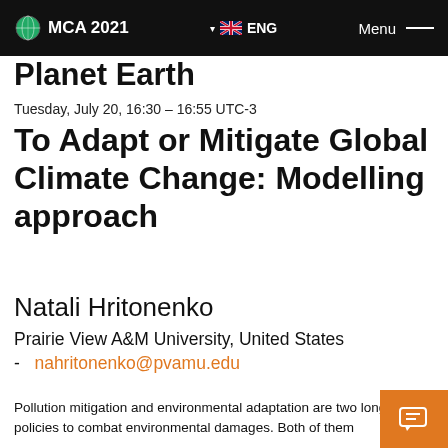MCA 2021   ENG   Menu
Planet Earth
Tuesday, July 20, 16:30 – 16:55 UTC-3
To Adapt or Mitigate Global Climate Change: Modelling approach
Natali Hritonenko
Prairie View A&M University, United States   -   nahritonenko@pvamu.edu
Pollution mitigation and environmental adaptation are two long term policies to combat environmental damages. Both of them